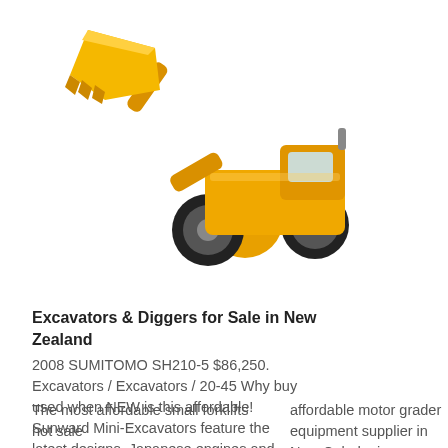[Figure (photo): Yellow front loader / wheel loader construction equipment with raised bucket, shown on white background]
Excavators & Diggers for Sale in New Zealand
2008 SUMITOMO SH210-5 $86,250. Excavators / Excavators / 20-45 Why buy used when NEW is this affordable! Sunward Mini-Excavators feature the latest designs, Japanese engines and represent unbeatable value! We
The most affordable small forklifts hot sale
affordable motor grader equipment supplier in New Caledonia